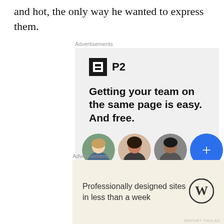and hot, the only way he wanted to express them.
Advertisements
[Figure (infographic): P2 advertisement: logo with black square icon and 'P2' text, headline 'Getting your team on the same page is easy. And free.' with three person avatars and a blue circle with plus sign]
REPORT THIS AD
Advertisements
[Figure (infographic): WordPress advertisement with beige background: 'Professionally designed sites in less than a week' with WordPress logo]